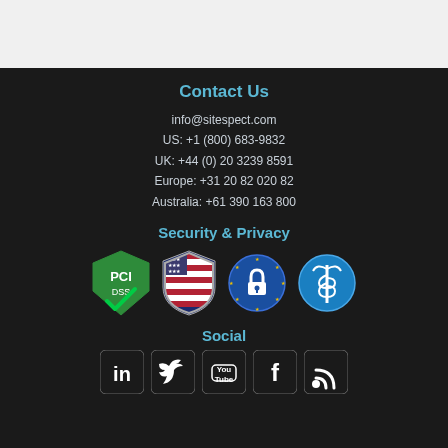Contact Us
info@sitespect.com
US: +1 (800) 683-9832
UK: +44 (0) 20 3239 8591
Europe: +31 20 82 020 82
Australia: +61 390 163 800
Security & Privacy
[Figure (logo): Four security/privacy badges: PCI compliance shield, US Privacy Shield, EU privacy lock circle, HIPAA health caduceus circle]
Social
[Figure (logo): Social media icons: LinkedIn, Twitter, YouTube, Facebook, RSS feed]